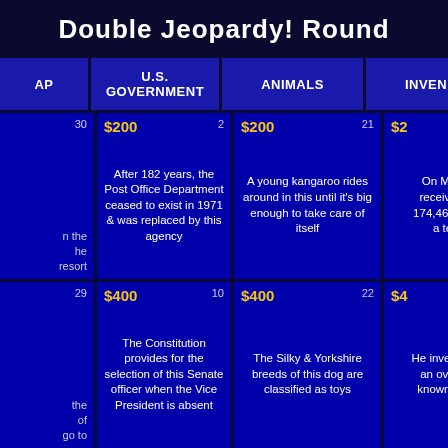Double Jeopardy! Round
| AP | U.S. GOVERNMENT | ANIMALS | INVEN |
| --- | --- | --- | --- |
| 30 | $200  2
After 182 years, the Post Office Department ceased to exist in 1971 & was replaced by this agency | $200  21
A young kangaroo rides around in this until it's big enough to take care of itself | $2...
On March... received R... 174,465 for h... a tele... |
| 29 | $400  10
The Constitution provides for the selection of this Senate officer when the Vice President is absent | $400  22
The Silky & Yorkshire breeds of this dog are classified as toys | $4...
He invented a... an oven, b... known for h... |